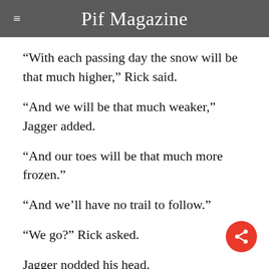Pif Magazine
“With each passing day the snow will be that much higher,” Rick said.
“And we will be that much weaker,” Jagger added.
“And our toes will be that much more frozen.”
“And we’ll have no trail to follow.”
“We go?” Rick asked.
Jagger nodded his head.
The heavy steel door swung open with the full force of the wind behind it. They stepped out